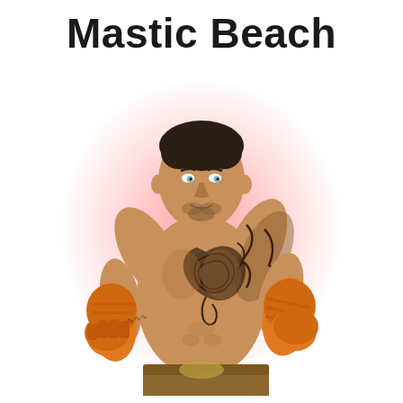Mastic Beach
[Figure (photo): A shirtless male boxer with tattoos on his chest and right arm, wearing orange hand wraps in a fighting stance against a white background with a pink/red radial glow behind him.]